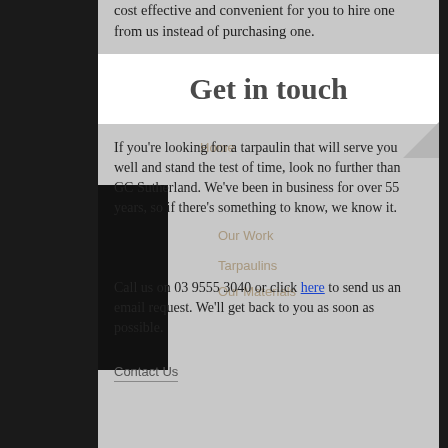cost effective and convenient for you to hire one from us instead of purchasing one.
Get in touch
If you're looking for a tarpaulin that will serve you well and stand the test of time, look no further than GC Sutherland. We've been in business for over 55 years, so if there's something to know, we know it.
Call us on 03 9555 3040 or click here to send us an email request. We'll get back to you as soon as possible.
Contact Us